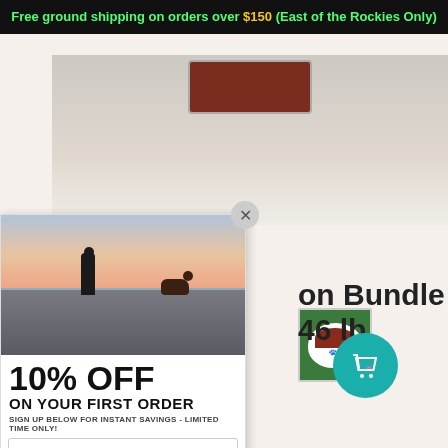Free ground shipping on orders over $150 (East of the Rockies Only)
[Figure (photo): Product background image showing meat/raw food container on light background]
[Figure (photo): Thumbnail image of a bowl of raw dog food with paw print on bowl, on green grass background]
[Figure (photo): Popup background photo of a person on a beach at sunset throwing something to a running dog]
10% OFF
ON YOUR FIRST ORDER
SIGN UP BELOW FOR INSTANT SAVINGS - LIMITED TIME ONLY!
Enter Email
View my code
on Bundle 46 lb